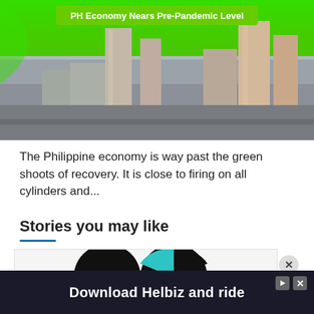[Figure (photo): Aerial cityscape of Manila/Philippines with dense urban buildings; green banner overlay at top reading 'PH Economy Nears Pre-Pandemic Level']
The Philippine economy is way past the green shoots of recovery. It is close to firing on all cylinders and...
Stories you may like
[Figure (photo): Partial view of two overlapping circular logos/images, one black with teal accent and one teal/black with a red-and-yellow logo partially visible at bottom]
Download Helbiz and ride